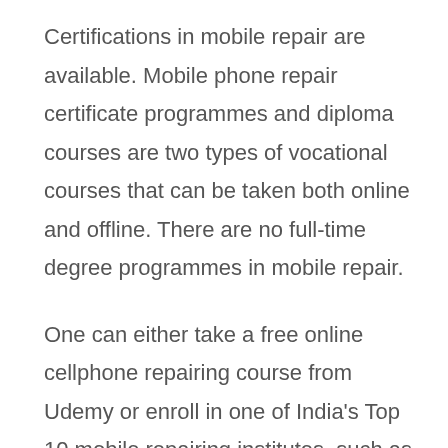Certifications in mobile repair are available. Mobile phone repair certificate programmes and diploma courses are two types of vocational courses that can be taken both online and offline. There are no full-time degree programmes in mobile repair.
One can either take a free online cellphone repairing course from Udemy or enroll in one of India's Top 10 mobile repairing institutes, such as Hitech Mobile Repairing Institution, which provides the best mobile repairing programs for INR 25,000-30,000.